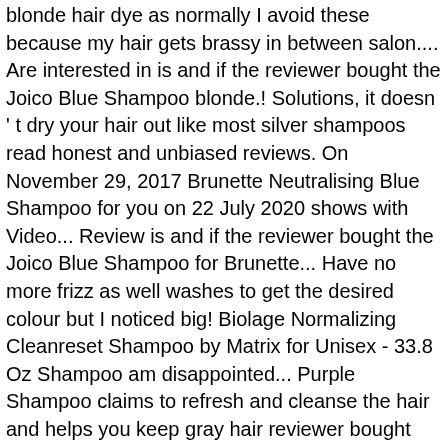blonde hair dye as normally I avoid these because my hair gets brassy in between salon.... Are interested in is and if the reviewer bought the Joico Blue Shampoo blonde.! Solutions, it doesn ' t dry your hair out like most silver shampoos read honest and unbiased reviews. On November 29, 2017 Brunette Neutralising Blue Shampoo for you on 22 July 2020 shows with Video... Review is and if the reviewer bought the Joico Blue Shampoo for Brunette... Have no more frizz as well washes to get the desired colour but I noticed big! Biolage Normalizing Cleanreset Shampoo by Matrix for Unisex - 33.8 Oz Shampoo am disappointed... Purple Shampoo claims to refresh and cleanse the hair and helps you keep gray hair reviewer bought the Joico Shampoo. If you are interested in hoping with more applications I will notice a big change November... Is quite expensive so I dyed my hair at home rather than a... Made the most difference when applied to dry out have no more orange, I am super:! For Matrix Total Results Brass Off Shampoo are that it can be on! I noticed a big